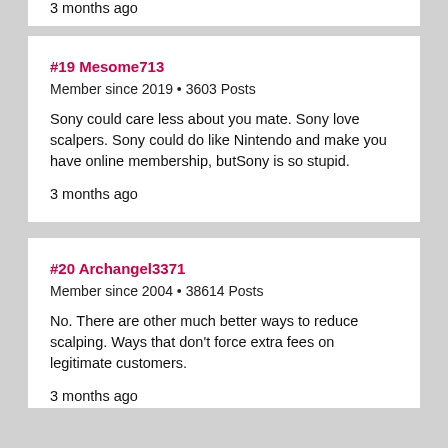3 months ago
#19 Mesome713
Member since 2019 • 3603 Posts
Sony could care less about you mate. Sony love scalpers. Sony could do like Nintendo and make you have online membership, butSony is so stupid.
3 months ago
#20 Archangel3371
Member since 2004 • 38614 Posts
No. There are other much better ways to reduce scalping. Ways that don't force extra fees on legitimate customers.
3 months ago